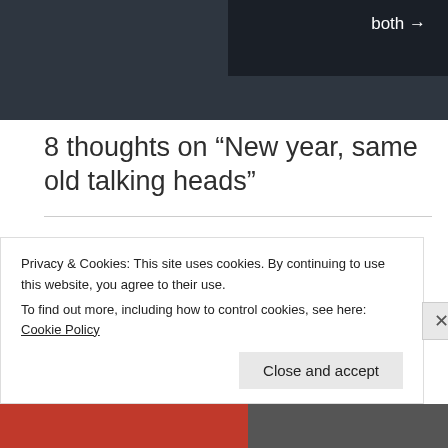both →
8 thoughts on “New year, same old talking heads”
Nate says:
JANUARY 5, 2016 AT 2:07 PM
Oh, another problem with journalism and nutrition is that journalist must find exciting
Privacy & Cookies: This site uses cookies. By continuing to use this website, you agree to their use.
To find out more, including how to control cookies, see here: Cookie Policy
Close and accept